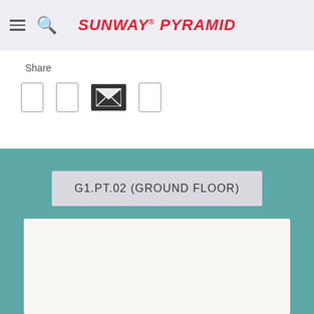SUNWAY PYRAMID
Share
[Figure (screenshot): Share icons: two rectangular outline icon buttons, one filled dark envelope/email icon, and one rectangular outline icon button]
[Figure (infographic): Teal background section with a label box reading G1.PT.02 (GROUND FLOOR) and a white floor plan map area below it]